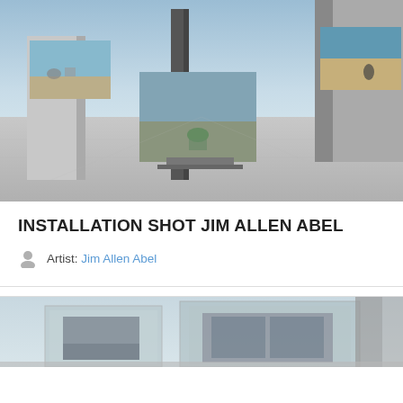[Figure (photo): 3D rendered virtual gallery space showing multiple photographs mounted on tall concrete-like pillars. The images displayed show beach and outdoor scenes. The space has a light grey floor and blue sky background.]
INSTALLATION SHOT JIM ALLEN ABEL
Artist: Jim Allen Abel
[Figure (photo): Partial view of another 3D rendered virtual gallery or architectural model showing glass and concrete structures with images/artwork mounted within.]